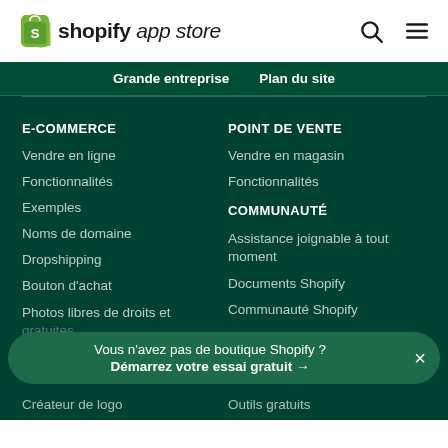[Figure (logo): Shopify App Store logo with shopping bag icon]
Grande entreprise   Plan du site
E-COMMERCE
Vendre en ligne
Fonctionnalités
Exemples
Noms de domaine
Dropshipping
Bouton d'achat
Photos libres de droits et gratuites
Créateur de logo
POINT DE VENTE
Vendre en magasin
Fonctionnalités
COMMUNAUTÉ
Assistance joignable à tout moment
Documents Shopify
Communauté Shopify
Outils gratuits
Vous n'avez pas de boutique Shopify ? Démarrez votre essai gratuit →